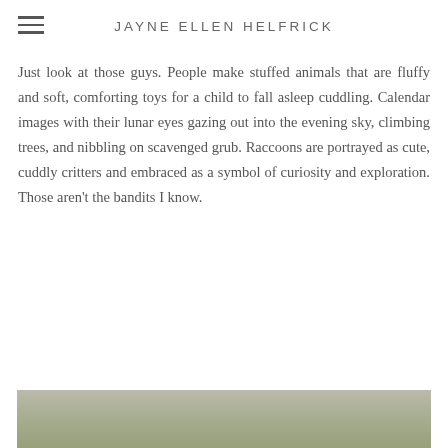JAYNE ELLEN HELFRICK
Just look at those guys. People make stuffed animals that are fluffy and soft, comforting toys for a child to fall asleep cuddling. Calendar images with their lunar eyes gazing out into the evening sky, climbing trees, and nibbling on scavenged grub. Raccoons are portrayed as cute, cuddly critters and embraced as a symbol of curiosity and exploration. Those aren't the bandits I know.
[Figure (photo): Partial view of a raccoon photograph visible at the bottom of the page, showing fur and greenery.]